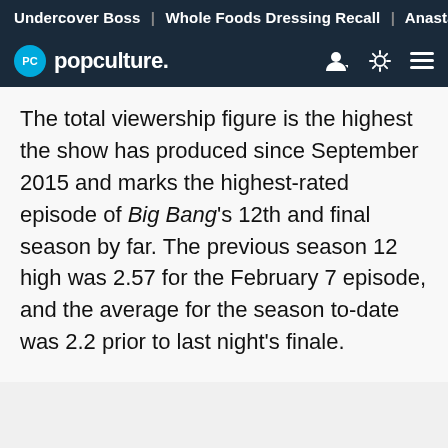Undercover Boss | Whole Foods Dressing Recall | Anastasia
[Figure (logo): Popculture.com logo with navigation icons (user, theme toggle, menu)]
The total viewership figure is the highest the show has produced since September 2015 and marks the highest-rated episode of Big Bang's 12th and final season by far. The previous season 12 high was 2.57 for the February 7 episode, and the average for the season to-date was 2.2 prior to last night's finale.